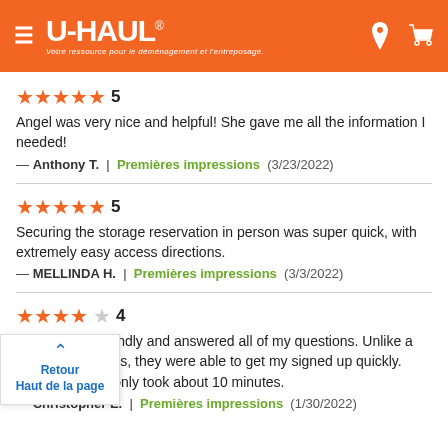[Figure (screenshot): U-Haul website header with orange background, hamburger menu, U-Haul logo, tagline in French, location pin and cart icons]
★★★★★ 5
Angel was very nice and helpful! She gave me all the information I needed!
— Anthony T. | Premières impressions (3/23/2022)
★★★★★ 5
Securing the storage reservation in person was super quick, with extremely easy access directions.
— MELLINDA H. | Premières impressions (3/3/2022)
★★★★☆ 4
friendly and answered all of my questions. Unlike a ...aces, they were able to get my signed up quickly. ...n, only took about 10 minutes.
— Christopher E. | Premières impressions (1/30/2022)